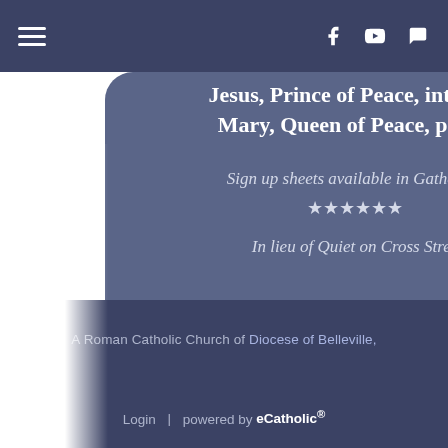Navigation bar with hamburger menu and social icons (Facebook, YouTube, Chat)
Jesus, Prince of Peace, intercede
Mary, Queen of Peace, pray f
Sign up sheets available in Gathering
★★★★★★
In lieu of Quiet on Cross Stree
A Roman Catholic Church of Diocese of Belleville, | Login | powered by eCatholic®